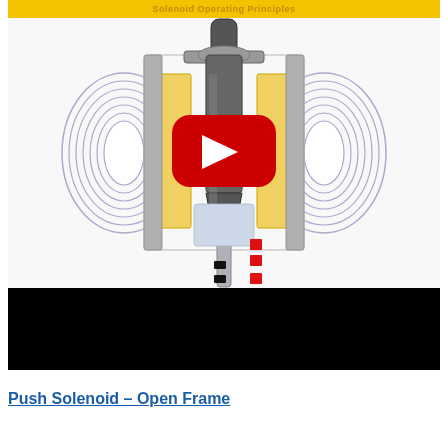[Figure (schematic): Cross-sectional engineering diagram of a solenoid actuator showing the plunger (dark grey cylinder), coil windings (concentric rings on left and right), yellow/golden coil housings, a grey shaft extending downward, red indicator marks, and a YouTube play button overlay in the center. The bottom portion shows a black bar (video player scrubber/controls area).]
Push Solenoid – Open Frame